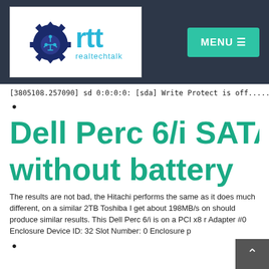[Figure (logo): RealTechTalk logo with gear icon and 'rtt realtechtalk' text in cyan, on white background, set within dark navy header bar with MENU button]
[3805108.257090] sd 0:0:0:0: [sda] Write Protect is off........
•
Dell Perc 6/i SATA be without battery
The results are not bad, the Hitachi performs the same as it does much different, on a similar 2TB Toshiba I get about 198MB/s on should produce similar results. This Dell Perc 6/i is on a PCI x8 r Adapter #0 Enclosure Device ID: 32 Slot Number: 0 Enclosure p
•